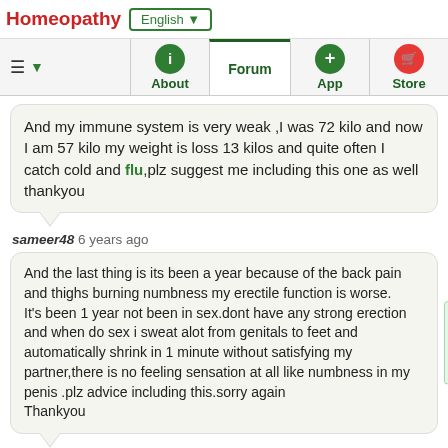Homeopathy | English
And my immune system is very weak ,I was 72 kilo and now I am 57 kilo my weight is loss 13 kilos and quite often I catch cold and flu,plz suggest me including this one as well thankyou
sameer48 6 years ago
And the last thing is its been a year because of the back pain and thighs burning numbness my erectile function is worse.
It's been 1 year not been in sex.dont have any strong erection and when do sex i sweat alot from genitals to feet and automatically shrink in 1 minute without satisfying my partner,there is no feeling sensation at all like numbness in my penis .plz advice including this.sorry again
Thankyou